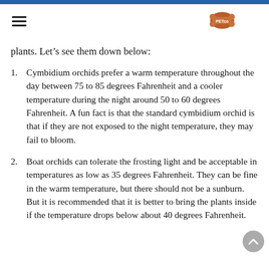≡ [logo]
plants. Let's see them down below:
Cymbidium orchids prefer a warm temperature throughout the day between 75 to 85 degrees Fahrenheit and a cooler temperature during the night around 50 to 60 degrees Fahrenheit. A fun fact is that the standard cymbidium orchid is that if they are not exposed to the night temperature, they may fail to bloom.
Boat orchids can tolerate the frosting light and be acceptable in temperatures as low as 35 degrees Fahrenheit. They can be fine in the warm temperature, but there should not be a sunburn. But it is recommended that it is better to bring the plants inside if the temperature drops below about 40 degrees Fahrenheit.